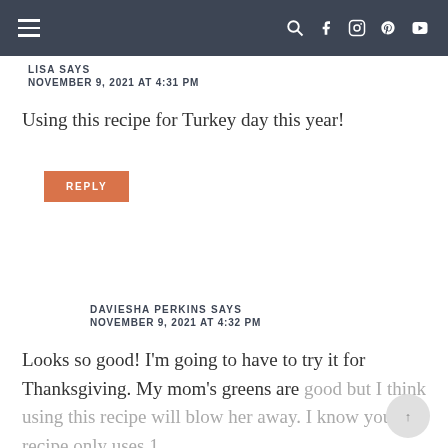Navigation bar with hamburger menu and social icons
LISA SAYS
NOVEMBER 9, 2021 AT 4:31 PM
Using this recipe for Turkey day this year!
REPLY
DAVIESHA PERKINS SAYS
NOVEMBER 9, 2021 AT 4:32 PM
Looks so good! I'm going to have to try it for Thanksgiving. My mom's greens are good but I think using this recipe will blow her away. I know your recipe only uses 1